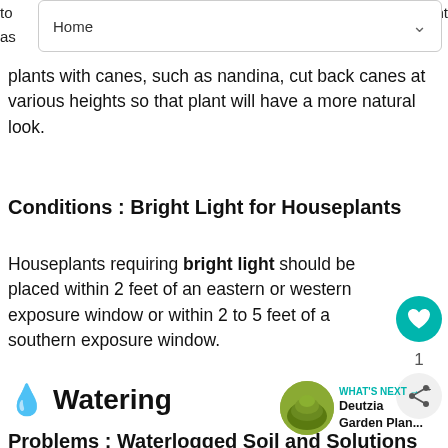[Figure (screenshot): Dropdown navigation menu showing 'Home' with a down-arrow chevron]
plants with canes, such as nandina, cut back canes at various heights so that plant will have a more natural look.
Conditions : Bright Light for Houseplants
Houseplants requiring bright light should be placed within 2 feet of an eastern or western exposure window or within 2 to 5 feet of a southern exposure window.
Watering
Problems : Waterlogged Soil and Solutions